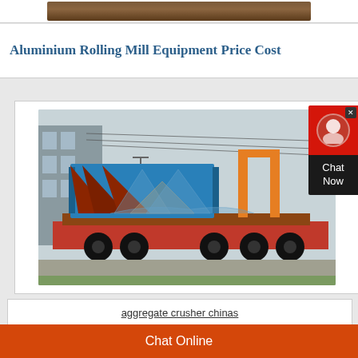[Figure (photo): Top partial image strip showing machinery/equipment in brown tones]
Aluminium Rolling Mill Equipment Price Cost
[Figure (photo): Industrial blue vibrating screen/aggregate equipment loaded on a red flatbed truck, photographed outdoors with a watermark logo overlay]
aggregate crusher chinas
Chat Online